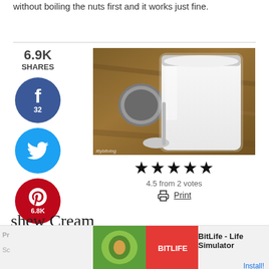without boiling the nuts first and it works just fine.
[Figure (photo): A glass mason jar filled with white cashew cream, with a spoon and jar lid visible on a wooden surface. Watermark reading 'ittybitving' in bottom left corner.]
4.5 from 2 votes
Print
shew Cream
Course vegan
[Figure (screenshot): Advertisement banner for BitLife - Life Simulator app with Install button]